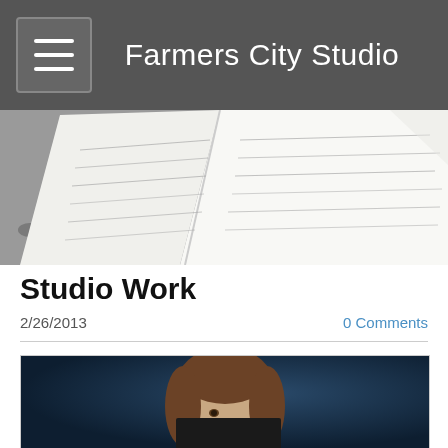Farmers City Studio
[Figure (photo): Open notebook with handwritten pages lying on gravel ground, photographed from above]
Studio Work
2/26/2013
0 Comments
[Figure (photo): Portrait of a person with short brown hair holding a dark book or object in front of their lower face, against a dark blue background]